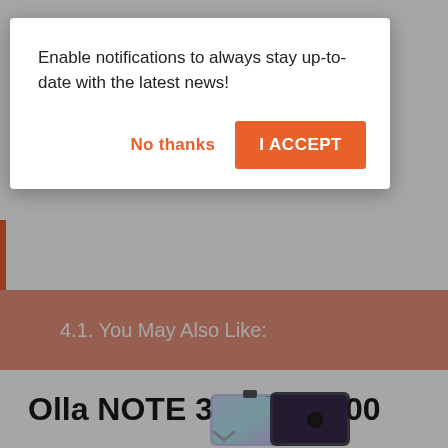Enable notifications to always stay up-to-date with the latest news!
No thanks
I ACCEPT
4.1. You May Also Like:
Olla NOTE 3 — ₦56,500
[Figure (photo): Olla NOTE 3 smartphone product image showing two phones — one with gradient blue/purple front screen and another showing dark back panel with camera.]